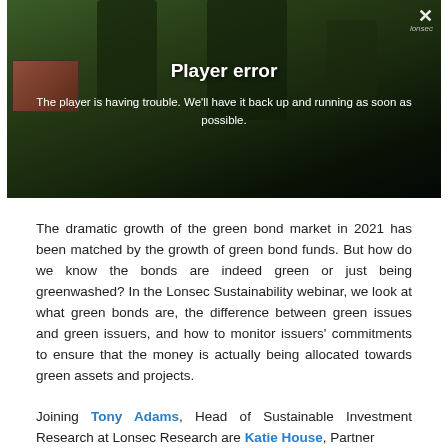[Figure (screenshot): Video player showing an error message. Background is a dark forest/tree image. Title reads 'Player error'. Message reads 'The player is having trouble. We'll have it back up and running as soon as possible.' A small thumbnail of a person is visible in the bottom left corner. An X close button and 'lonsec' logo appear in the top right.]
The dramatic growth of the green bond market in 2021 has been matched by the growth of green bond funds. But how do we know the bonds are indeed green or just being greenwashed? In the Lonsec Sustainability webinar, we look at what green bonds are, the difference between green issues and green issuers, and how to monitor issuers' commitments to ensure that the money is actually being allocated towards green assets and projects.
Joining Tony Adams, Head of Sustainable Investment Research at Lonsec Research are Katie House, Partner